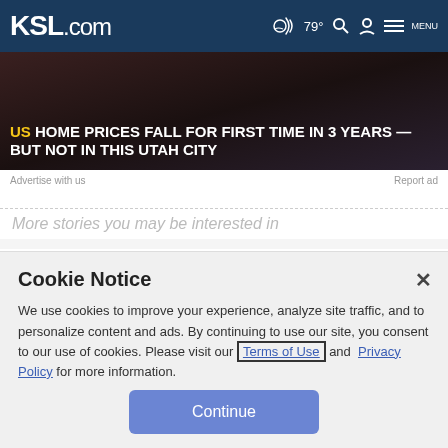KSL.com  79°  Search  Account  MENU
[Figure (screenshot): KSL.com news article banner: 'US HOME PRICES FALL FOR FIRST TIME IN 3 YEARS — BUT NOT IN THIS UTAH CITY' with dark background image]
Advertise with us
Report ad
More stories you may be interested in
Cookie Notice
We use cookies to improve your experience, analyze site traffic, and to personalize content and ads. By continuing to use our site, you consent to our use of cookies. Please visit our Terms of Use and  Privacy Policy for more information.
Continue